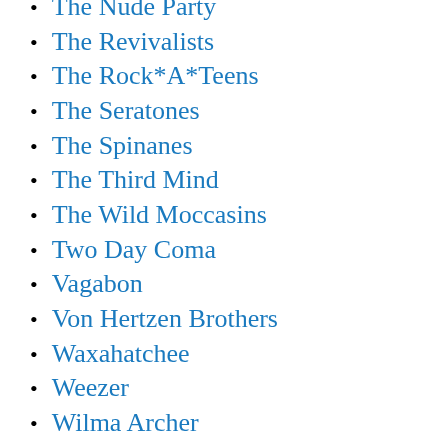The Nude Party
The Revivalists
The Rock*A*Teens
The Seratones
The Spinanes
The Third Mind
The Wild Moccasins
Two Day Coma
Vagabon
Von Hertzen Brothers
Waxahatchee
Weezer
Wilma Archer
Yeah Yeah Yeahs
Pop
Beach Boys
Boz Scaggs